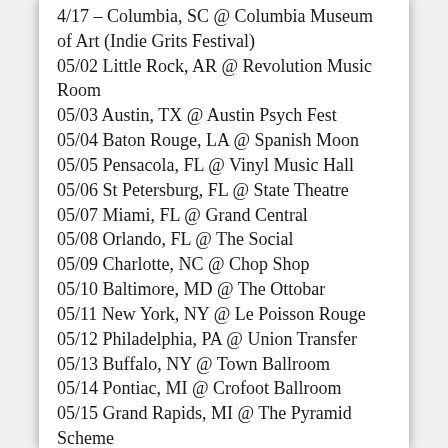4/17 – Columbia, SC @ Columbia Museum of Art (Indie Grits Festival)
05/02 Little Rock, AR @ Revolution Music Room
05/03 Austin, TX @ Austin Psych Fest
05/04 Baton Rouge, LA @ Spanish Moon
05/05 Pensacola, FL @ Vinyl Music Hall
05/06 St Petersburg, FL @ State Theatre
05/07 Miami, FL @ Grand Central
05/08 Orlando, FL @ The Social
05/09 Charlotte, NC @ Chop Shop
05/10 Baltimore, MD @ The Ottobar
05/11 New York, NY @ Le Poisson Rouge
05/12 Philadelphia, PA @ Union Transfer
05/13 Buffalo, NY @ Town Ballroom
05/14 Pontiac, MI @ Crofoot Ballroom
05/15 Grand Rapids, MI @ The Pyramid Scheme
05/16 Chicago, IL @ Lincoln Hall